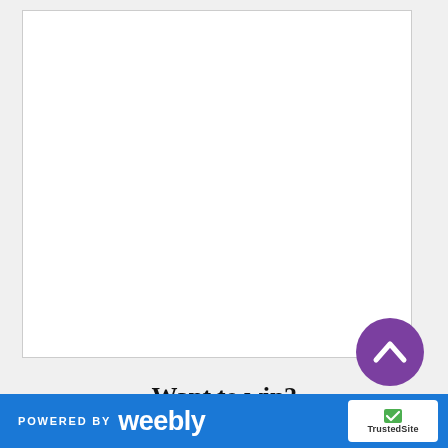[Figure (other): White blank content area with thin border, representing a mostly empty web page section]
[Figure (other): Purple circular scroll-to-top button with white upward chevron arrow]
Want to win?
POWERED BY weebly  TrustedSite